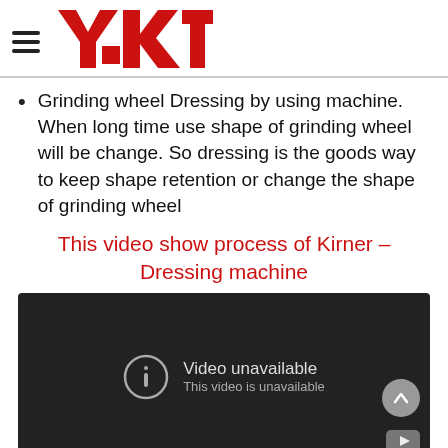YKT logo and navigation
Grinding wheel Dressing by using machine. When long time use shape of grinding wheel will be change. So dressing is the goods way to keep shape retention or change the shape of grinding wheel
This video show process of Kirner – Dressing machine
[Figure (screenshot): Embedded video player showing 'Video unavailable – This video is unavailable' message on a dark background with YouTube icon and scroll-to-top button.]